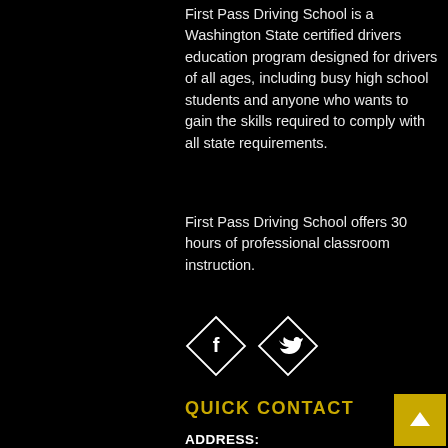First Pass Driving School is a Washington State certified drivers education program designed for drivers of all ages, including busy high school students and anyone who wants to gain the skills required to comply with all state requirements.
First Pass Driving School offers 30 hours of professional classroom instruction.
[Figure (illustration): Two diamond-shaped social media icons: Facebook (f) and Twitter (bird) with white outlines on black background]
QUICK CONTACT
ADDRESS:
12629 Renton Avenue South, Suite E